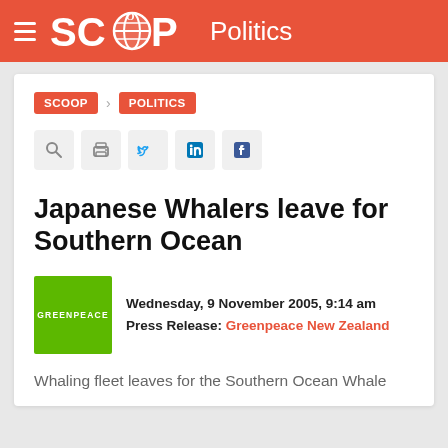SCOOP Politics
SCOOP > POLITICS
[Figure (other): Social sharing buttons: search, print, Twitter, LinkedIn, Facebook]
Japanese Whalers leave for Southern Ocean
Wednesday, 9 November 2005, 9:14 am
Press Release: Greenpeace New Zealand
Whaling fleet leaves for the Southern Ocean Whale